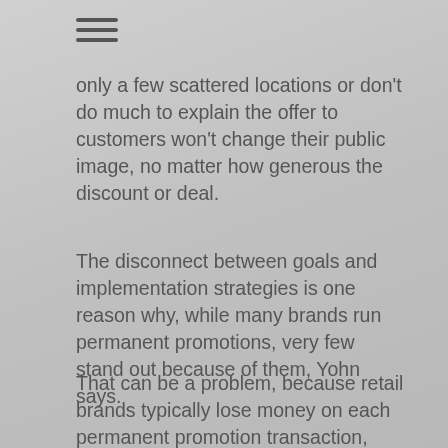[Figure (other): Hamburger menu icon (three horizontal lines)]
only a few scattered locations or don't do much to explain the offer to customers won't change their public image, no matter how generous the discount or deal.
The disconnect between goals and implementation strategies is one reason why, while many brands run permanent promotions, very few stand out because of them, Yohn says.
That can be a problem, because retail brands typically lose money on each permanent promotion transaction, according to the American Management Association, a corporate training and consultant group.